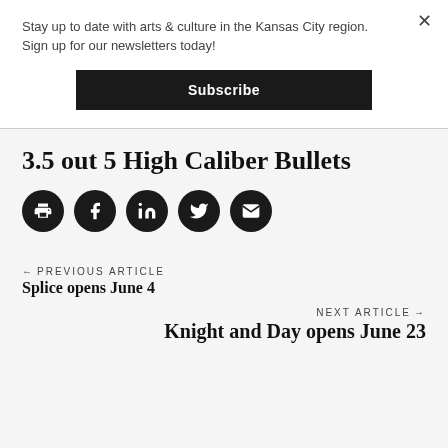Stay up to date with arts & culture in the Kansas City region. Sign up for our newsletters today!
Subscribe
3.5 out 5 High Caliber Bullets
[Figure (infographic): Five circular social sharing icon buttons: print, Facebook, LinkedIn, Twitter, email]
← PREVIOUS ARTICLE
Splice opens June 4
NEXT ARTICLE →
Knight and Day opens June 23